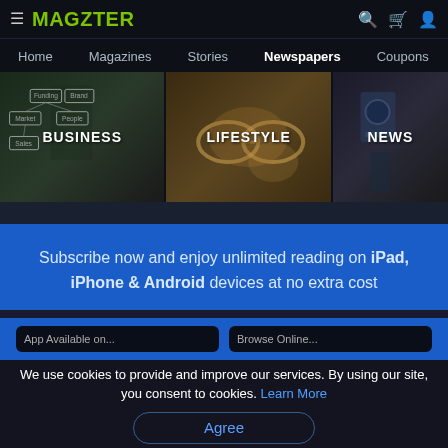MAGZTER — Home | Magazines | Stories | Newspapers | Coupons
[Figure (screenshot): Three category tiles: BUSINESS (person pointing at a business chart with boxes labeled Funding, Brand, Market, People, Sales), LIFESTYLE (close-up of glasses/face), NEWS (person with camera)]
Subscribe now and enjoy unlimited reading on iPad, iPhone & Android devices at no extra cost
We use cookies to provide and improve our services. By using our site, you consent to cookies. Learn More
Agree